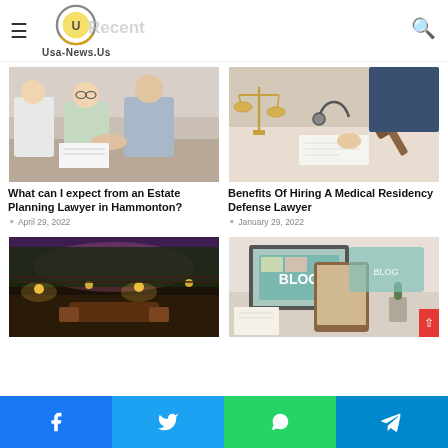Usa-News.Us
[Figure (photo): Two elderly people shaking hands with a professional across a desk, smiling]
What can I expect from an Estate Planning Lawyer in Hammonton?
April 29, 2022
[Figure (photo): Legal desk with scales of justice, gavel, stethoscope, and documents]
Benefits Of Hiring A Medical Residency Defense Lawyer
January 29, 2022
[Figure (photo): Outdoor patio with warm lighting, seating area, and lush greenery at dusk]
[Figure (photo): Blog-themed desktop setup with screen showing BLOG text, teal colors]